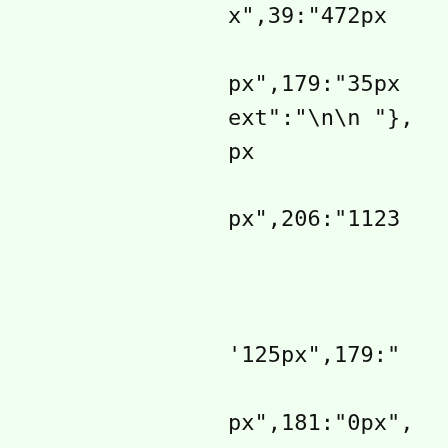x",39:"472px

px",179:"35px
ext":"\n\n "},
px

px",206:"1123



'125px",179:"

px",181:"0px",
(

lren:[


PLUNGE-

ice.com/wp-
PLUNGE-
.com/wp-
PLUNGE-
om/wp-